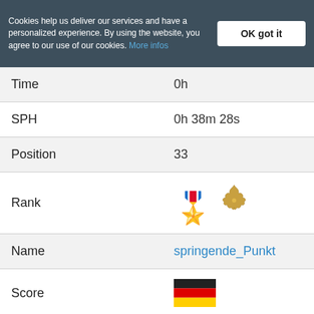Cookies help us deliver our services and have a personalized experience. By using the website, you agree to our use of our cookies. More infos
| Label | Value |
| --- | --- |
| Time | 0h (partial) |
| SPH | 0h 38m 28s |
| Position | 33 |
| Rank | (gold leaf icon) |
| Name | springende_Punkt |
| Score | (German flag) |
| Country | 375 |
| KD Ratio | 1 |
| Time | 1 |
| SPH | 1h 26m 32s (partial) |